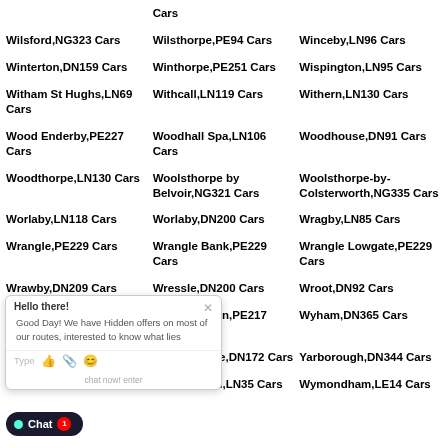Cars
Wilsford,NG323 Cars
Wilsthorpe,PE94 Cars
Winceby,LN96 Cars
Winterton,DN159 Cars
Winthorpe,PE251 Cars
Wispington,LN95 Cars
Witham St Hughs,LN69 Cars
Withcall,LN119 Cars
Withern,LN130 Cars
Wood Enderby,PE227 Cars
Woodhall Spa,LN106 Cars
Woodhouse,DN91 Cars
Woodthorpe,LN130 Cars
Woolsthorpe by Belvoir,NG321 Cars
Woolsthorpe-by-Colsterworth,NG335 Cars
Worlaby,LN118 Cars
Worlaby,DN200 Cars
Wragby,LN85 Cars
Wrangle,PE229 Cars
Wrangle Bank,PE229 Cars
Wrangle Lowgate,PE229 Cars
Wrawby,DN209 Cars
Wressle,DN200 Cars
Wroot,DN92 Cars
Wyberton,PE217 Cars
Wyberton Fen,PE217 Cars
Wyham,DN365 Cars
Wyville,NG321 Cars
Yaddlethorpe,DN172 Cars
Yarborough,DN344 Cars
Yawthorpe,DN215
Young Wood,LN35 Cars
Wymondham,LE14 Cars